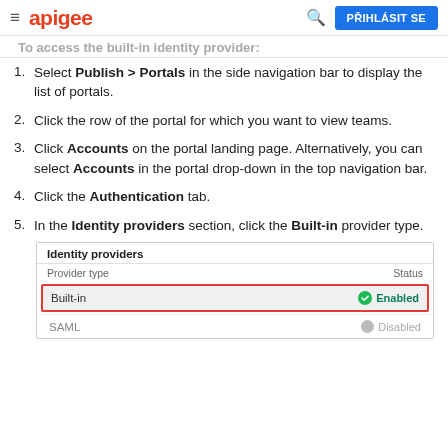apigee — PŘIHLÁSIT SE
To access the built-in identity provider:
Select Publish > Portals in the side navigation bar to display the list of portals.
Click the row of the portal for which you want to view teams.
Click Accounts on the portal landing page. Alternatively, you can select Accounts in the portal drop-down in the top navigation bar.
Click the Authentication tab.
In the Identity providers section, click the Built-in provider type.
[Figure (screenshot): Identity providers table showing Provider type column with Built-in row highlighted in red border with Enabled status (green), and SAML row with Disabled status (gray)]